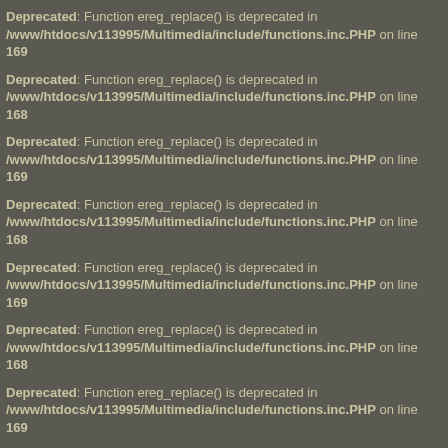Deprecated: Function ereg_replace() is deprecated in /www/htdocs/v113995/Multimedia/include/functions.inc.PHP on line 169
Deprecated: Function ereg_replace() is deprecated in /www/htdocs/v113995/Multimedia/include/functions.inc.PHP on line 168
Deprecated: Function ereg_replace() is deprecated in /www/htdocs/v113995/Multimedia/include/functions.inc.PHP on line 169
Deprecated: Function ereg_replace() is deprecated in /www/htdocs/v113995/Multimedia/include/functions.inc.PHP on line 168
Deprecated: Function ereg_replace() is deprecated in /www/htdocs/v113995/Multimedia/include/functions.inc.PHP on line 169
Deprecated: Function ereg_replace() is deprecated in /www/htdocs/v113995/Multimedia/include/functions.inc.PHP on line 168
Deprecated: Function ereg_replace() is deprecated in /www/htdocs/v113995/Multimedia/include/functions.inc.PHP on line 169
Deprecated: Function ereg_replace() is deprecated in /www/htdocs/v113995/Multimedia/include/functions.inc.PHP on line 168
Deprecated: Function ereg_replace() is deprecated in /www/htdocs/v113995/Multimedia/include/functions.inc.PHP on line 169
Deprecated: Function ereg_replace() is deprecated in /www/htdocs/v113995/Multimedia/include/functions.inc.PHP on line 168
Deprecated: Function ereg_replace() is deprecated in